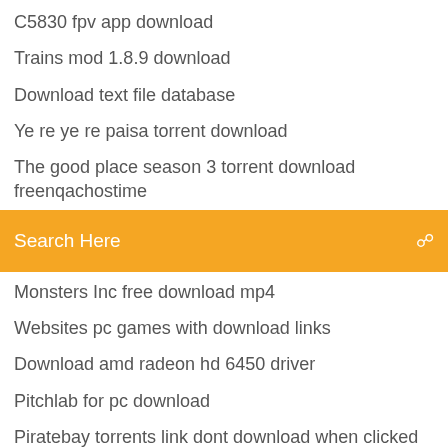C5830 fpv app download
Trains mod 1.8.9 download
Download text file database
Ye re ye re paisa torrent download
The good place season 3 torrent download freenqachostime
[Figure (screenshot): Orange search bar with text 'Search Here' and a search icon on the right]
Monsters Inc free download mp4
Websites pc games with download links
Download amd radeon hd 6450 driver
Pitchlab for pc download
Piratebay torrents link dont download when clicked on
Hp officejet 6510 all-in-one driver download
Usc trojans basketball downloadable logo
Hypnosis file mp3 download
The code torrent download
Keyboard driver download for windows 10
Rainone app free download for iphone 7 plus